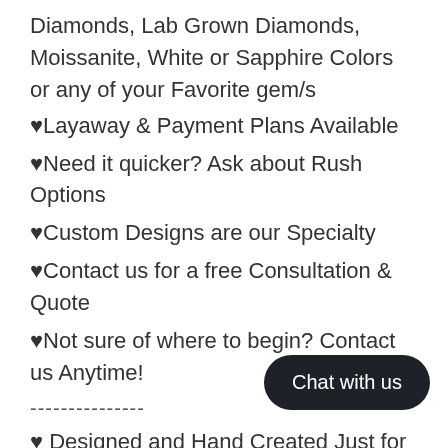Diamonds, Lab Grown Diamonds, Moissanite, White or Sapphire Colors or any of your Favorite gem/s
♥Layaway & Payment Plans Available
♥Need it quicker? Ask about Rush Options
♥Custom Designs are our Specialty
♥Contact us for a free Consultation & Quote
♥Not sure of where to begin? Contact us Anytime!
---------------
♥ Designed and Hand Created Just for you in the US, by WanLoveDesigns ♥
---------------
SHIPPING and POLICIES
• All orders are shipped with Insurance & Requiring Adult Signature for your protection
• Once shipped, all tracking information will be automatically emailed to you & can also be found in your